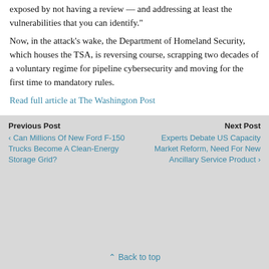exposed by not having a review — and addressing at least the vulnerabilities that you can identify."
Now, in the attack's wake, the Department of Homeland Security, which houses the TSA, is reversing course, scrapping two decades of a voluntary regime for pipeline cybersecurity and moving for the first time to mandatory rules.
Read full article at The Washington Post
Previous Post
‹ Can Millions Of New Ford F-150 Trucks Become A Clean-Energy Storage Grid?
Next Post
Experts Debate US Capacity Market Reform, Need For New Ancillary Service Product ›
⌃ Back to top